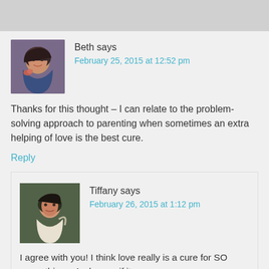Beth says
February 25, 2015 at 12:52 pm
Thanks for this thought – I can relate to the problem-solving approach to parenting when sometimes an extra helping of love is the best cure.
Reply
Tiffany says
February 26, 2015 at 1:12 pm
I agree with you! I think love really is a cure for SO many things. And, even if it